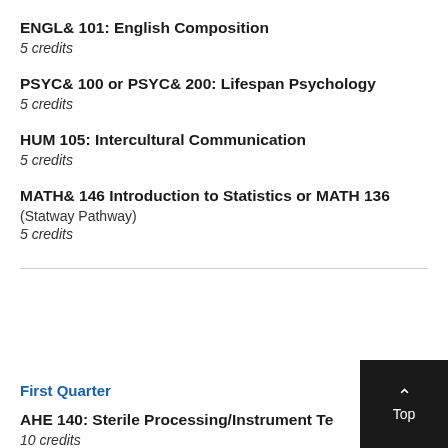ENGL& 101: English Composition
5 credits
PSYC& 100 or PSYC& 200: Lifespan Psychology
5 credits
HUM 105: Intercultural Communication
5 credits
MATH& 146 Introduction to Statistics or MATH 136
(Statway Pathway)
5 credits
First Quarter
AHE 140: Sterile Processing/Instrument Technician
10 credits